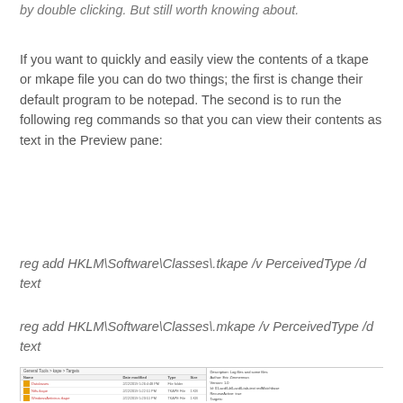by double clicking. But still worth knowing about.
If you want to quickly and easily view the contents of a tkape or mkape file you can do two things; the first is change their default program to be notepad. The second is to run the following reg commands so that you can view their contents as text in the Preview pane:
reg add HKLM\Software\Classes\.tkape /v PerceivedType /d text
reg add HKLM\Software\Classes\.mkape /v PerceivedType /d text
[Figure (screenshot): Screenshot of Windows Explorer showing a list of .kape files on the left panel and a preview pane on the right showing file contents/properties of a selected kape target file.]